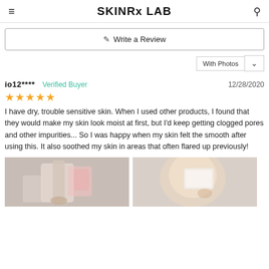SKINRx LAB
Write a Review
With Photos
io12**** Verified Buyer 12/28/2020
I have dry, trouble sensitive skin. When I used other products, I found that they would make my skin look moist at first, but I'd keep getting clogged pores and other impurities... So I was happy when my skin felt the smooth after using this. It also soothed my skin in areas that often flared up previously!
[Figure (photo): Product photo showing a skincare bottle held in hand with pink packaging]
[Figure (photo): Photo showing person applying a patch to their face near the ear]